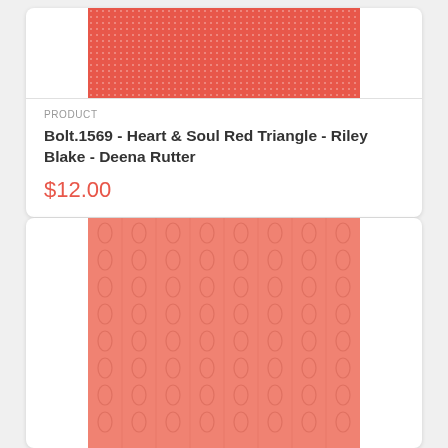[Figure (photo): Red fabric with small white dot pattern (Heart & Soul Red Triangle by Riley Blake / Deena Rutter), top portion of card]
PRODUCT
Bolt.1569 - Heart & Soul Red Triangle - Riley Blake - Deena Rutter
$12.00
[Figure (photo): Salmon/coral fabric with oval/ellipse pattern arranged in columns (second product card, image only visible)]